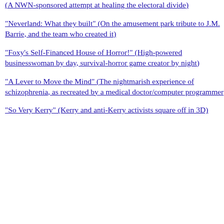(A NWN-sponsored attempt at healing the electoral divide)
"Neverland: What they built" (On the amusement park tribute to J.M. Barrie, and the team who created it)
"Foxy's Self-Financed House of Horror!" (High-powered businesswoman by day, survival-horror game creator by night)
"A Lever to Move the Mind" (The nightmarish experience of schizophrenia, as recreated by a medical doctor/computer programmer)
"So Very Kerry" (Kerry and anti-Kerry activists square off in 3D)
Scrolling back to find stories of romance personal favorites from last year: the co... Murdock, and the partnership of Jade Li... transcending gender and now even Lind... years, another favorite of mine is the Atl... Escher and Fallingwater Cellardoor. Rea... in-world!
On a whim, I checked in with a member o... year or more after I wrote their profiles. A... the distance of online interaction, you'd t... taken offline.
The status of their love, after the break.
Continue reading "NEW WORLD VALEN..."
Posted at 12:21 AM | Permalink | Comments (4) |
Monday, February 13, 2006
STEAMPUNKING SECOND...